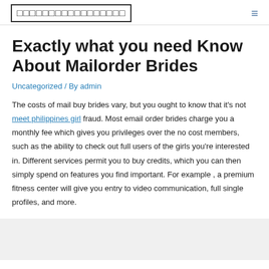□□□□□□□□□□□□□□□□□
Exactly what you need Know About Mailorder Brides
Uncategorized / By admin
The costs of mail buy brides vary, but you ought to know that it's not meet philippines girl fraud. Most email order brides charge you a monthly fee which gives you privileges over the no cost members, such as the ability to check out full users of the girls you're interested in. Different services permit you to buy credits, which you can then simply spend on features you find important. For example , a premium fitness center will give you entry to video communication, full single profiles, and more.